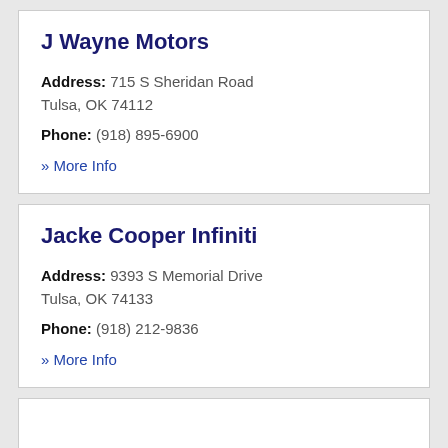J Wayne Motors
Address: 715 S Sheridan Road
Tulsa, OK 74112
Phone: (918) 895-6900
» More Info
Jacke Cooper Infiniti
Address: 9393 S Memorial Drive
Tulsa, OK 74133
Phone: (918) 212-9836
» More Info